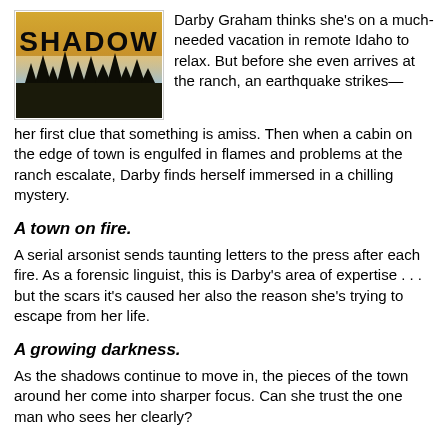[Figure (illustration): Book cover showing the word SHADOW in large dark letters over a misty forest with pine trees and blue sky background]
Darby Graham thinks she's on a much-needed vacation in remote Idaho to relax. But before she even arrives at the ranch, an earthquake strikes—her first clue that something is amiss. Then when a cabin on the edge of town is engulfed in flames and problems at the ranch escalate, Darby finds herself immersed in a chilling mystery.
A town on fire.
A serial arsonist sends taunting letters to the press after each fire. As a forensic linguist, this is Darby's area of expertise . . . but the scars it's caused her also the reason she's trying to escape from her life.
A growing darkness.
As the shadows continue to move in, the pieces of the town around her come into sharper focus. Can she trust the one man who sees her clearly?